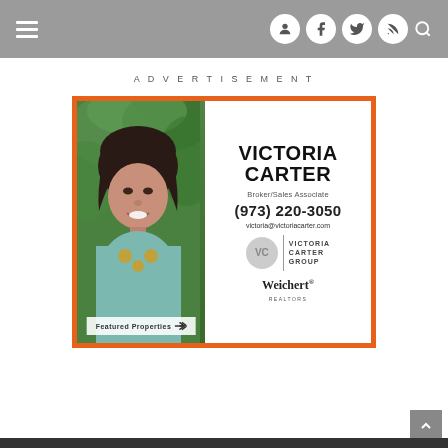Navigation and social icons header
ADVERTISEMENT
[Figure (photo): Advertisement for Victoria Carter, Broker/Sales Associate at Weichert Realtors. Shows a professional photo of a woman with dark hair wearing a teal top and necklace, alongside contact info: (973) 220-3050, victoria@victoriacarter.com, Victoria Carter Group logo, Weichert branding, and a Featured Properties button.]